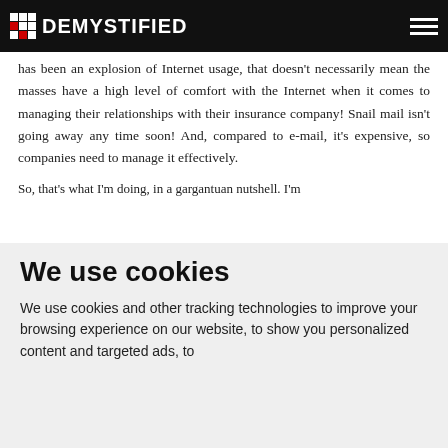DEMYSTIFIED
has been an explosion of Internet usage, that doesn't necessarily mean the masses have a high level of comfort with the Internet when it comes to managing their relationships with their insurance company! Snail mail isn't going away any time soon! And, compared to e-mail, it's expensive, so companies need to manage it effectively.
So, that's what I'm doing, in a gargantuan nutshell. I'm
We use cookies
We use cookies and other tracking technologies to improve your browsing experience on our website, to show you personalized content and targeted ads, to